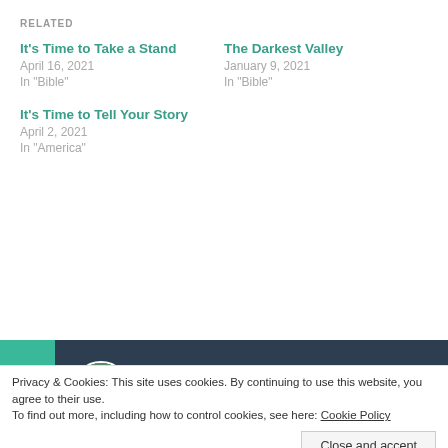RELATED
It's Time to Take a Stand
April 16, 2021
In "Bible"
The Darkest Valley
January 9, 2021
In "Bible"
It's Time to Tell Your Story
April 2, 2021
In "America"
Published by BrittneyAJackson
Privacy & Cookies: This site uses cookies. By continuing to use this website, you agree to their use.
To find out more, including how to control cookies, see here: Cookie Policy
November 13, 2020